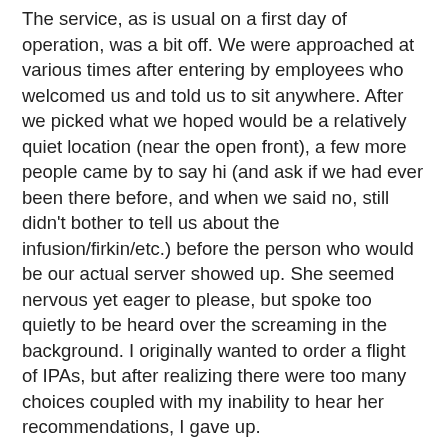The service, as is usual on a first day of operation, was a bit off. We were approached at various times after entering by employees who welcomed us and told us to sit anywhere. After we picked what we hoped would be a relatively quiet location (near the open front), a few more people came by to say hi (and ask if we had ever been there before, and when we said no, still didn't bother to tell us about the infusion/firkin/etc.) before the person who would be our actual server showed up. She seemed nervous yet eager to please, but spoke too quietly to be heard over the screaming in the background. I originally wanted to order a flight of IPAs, but after realizing there were too many choices coupled with my inability to hear her recommendations, I gave up.
Though I would rather have left, we ordered food. Fortunately, it was generally pretty good. I had two ahi tuna tacos, which were generously-sized and fresh-tasting. Mr Minx ordered a pesto grilled chicken sandwich. It also was huge, filled with nicely moist and juicy chicken breast, and good amounts of pesto and cheese. The steak fries on the side were cooked properly and both dishes were overall